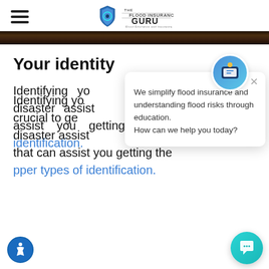The Flood Insurance Guru
[Figure (photo): Dark brown/black horizontal image strip, appears to be a landscape or flood scene]
Your identity
Identifying your identity is crucial to getting any type of disaster assistance or programs that can assist you getting the proper types of identification.
[Figure (screenshot): Chat popup widget with avatar icon showing message: 'We simplify flood insurance and understanding flood risks through education. How can we help you today?']